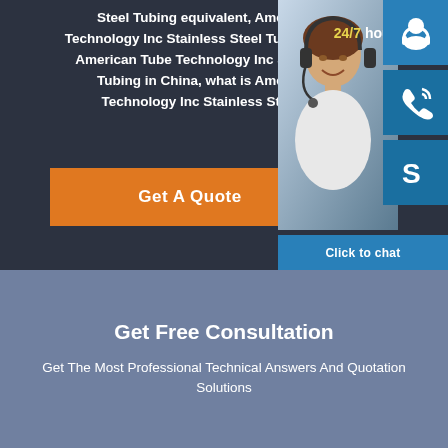Steel Tubing equivalent, American Tube Technology Inc Stainless Steel Tubing properties, American Tube Technology Inc Stainless Steel Tubing in China, what is American Tube Technology Inc Stainless Steel Tubing
[Figure (screenshot): Orange 'Get A Quote' button on dark background, with a chat widget panel on the right showing a smiling customer service representative, 24/7 hour label in yellow, headset icon, phone icon, Skype icon, and 'Click to chat' bar]
Get Free Consultation
Get The Most Professional Technical Answers And Quotation Solutions